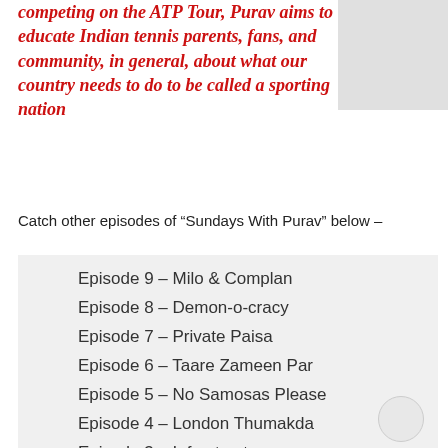competing on the ATP Tour, Purav aims to educate Indian tennis parents, fans, and community, in general, about what our country needs to do to be called a sporting nation
[Figure (photo): Gray image placeholder in top right corner]
Catch other episodes of “Sundays With Purav” below –
Episode 9 – Milo & Complan
Episode 8 – Demon-o-cracy
Episode 7 – Private Paisa
Episode 6 – Taare Zameen Par
Episode 5 – No Samosas Please
Episode 4 – London Thumakda
Episode 3 – Infrastructure